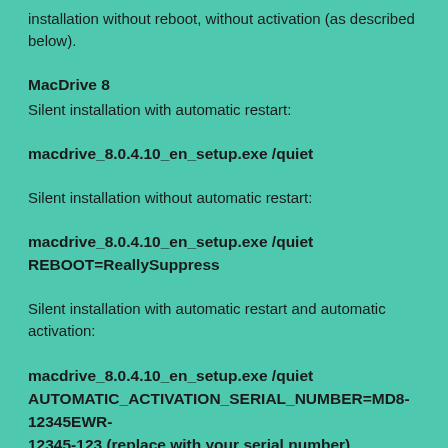installation without reboot, without activation (as described below).
MacDrive 8
Silent installation with automatic restart:
macdrive_8.0.4.10_en_setup.exe /quiet
Silent installation without automatic restart:
macdrive_8.0.4.10_en_setup.exe /quiet REBOOT=ReallySuppress
Silent installation with automatic restart and automatic activation:
macdrive_8.0.4.10_en_setup.exe /quiet AUTOMATIC_ACTIVATION_SERIAL_NUMBER=MD8-12345EWR-12345-123 (replace with your serial number)